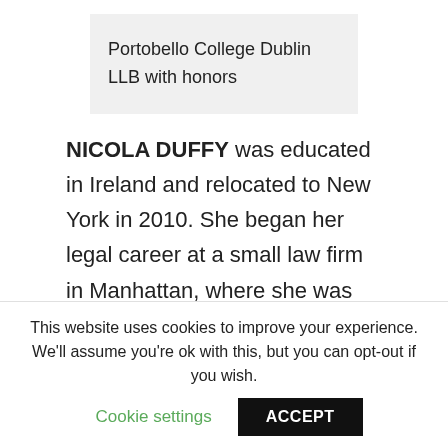Portobello College Dublin
LLB with honors
NICOLA DUFFY was educated in Ireland and relocated to New York in 2010. She began her legal career at a small law firm in Manhattan, where she was involved in all aspects of litigation from inception through trial. She honed her skills in all areas of civil litigation but primarily
This website uses cookies to improve your experience. We'll assume you're ok with this, but you can opt-out if you wish.
Cookie settings
ACCEPT